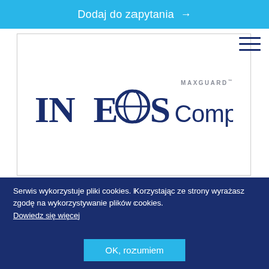Dodaj do zapytania →
[Figure (logo): INEOS Composites MAXGUARD logo on white background with border]
Serwis wykorzystuje pliki cookies. Korzystając ze strony wyrażasz zgodę na wykorzystywanie plików cookies. Dowiedz się więcej
OK, rozumiem